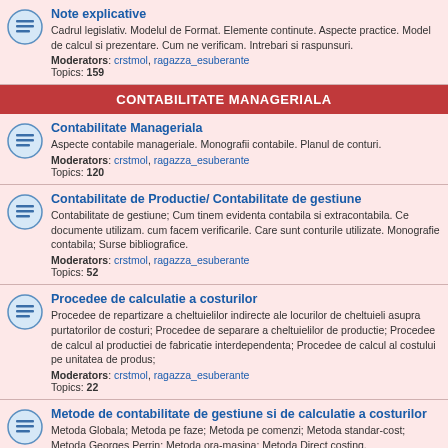Note explicative
Cadrul legislativ. Modelul de Format. Elemente continute. Aspecte practice. Model de calcul si prezentare. Cum ne verificam. Intrebari si raspunsuri.
Moderators: crstmol, ragazza_esuberante
Topics: 159
CONTABILITATE MANAGERIALA
Contabilitate Manageriala
Aspecte contabile manageriale. Monografii contabile. Planul de conturi.
Moderators: crstmol, ragazza_esuberante
Topics: 120
Contabilitate de Productie/ Contabilitate de gestiune
Contabilitate de gestiune; Cum tinem evidenta contabila si extracontabila. Ce documente utilizam. cum facem verificarile. Care sunt conturile utilizate. Monografie contabila; Surse bibliografice.
Moderators: crstmol, ragazza_esuberante
Topics: 52
Procedee de calculatie a costurilor
Procedee de repartizare a cheltuielilor indirecte ale locurilor de cheltuieli asupra purtatorilor de costuri; Procedee de separare a cheltuielilor de productie; Procedee de calcul al productiei de fabricatie interdependenta; Procedee de calcul al costului pe unitatea de produs;
Moderators: crstmol, ragazza_esuberante
Topics: 22
Metode de contabilitate de gestiune si de calculatie a costurilor
Metoda Globala; Metoda pe faze; Metoda pe comenzi; Metoda standar-cost; Metoda Georges Perrin; Metoda ora-masina; Metoda Direct costing.
Moderators: crstmol, ragazza_esuberante
Topics: 90
CONTABILITATE APROFUNDATA